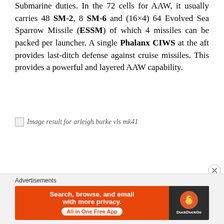Submarine duties. In the 72 cells for AAW, it usually carries 48 SM-2, 8 SM-6 and (16×4) 64 Evolved Sea Sparrow Missile (ESSM) of which 4 missiles can be packed per launcher. A single Phalanx CIWS at the aft provides last-ditch defense against cruise missiles. This provides a powerful and layered AAW capability.
[Figure (other): Broken image placeholder with alt text: Image result for arleigh burke vls mk41]
Advertisements
[Figure (other): DuckDuckGo advertisement banner: Search, browse, and email with more privacy. All in One Free App]